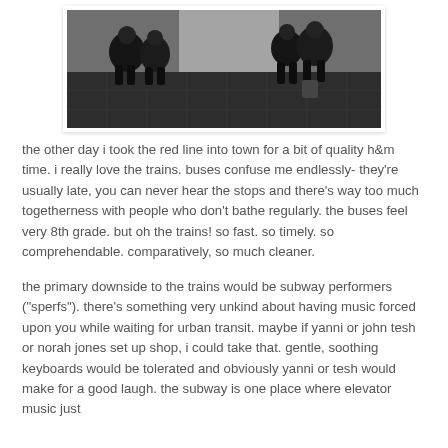[Figure (photo): Black and white photograph of people sitting at a subway/metro station platform, with tiled walls and a tiled floor. Two groups of people are visible sitting against the wall.]
the other day i took the red line into town for a bit of quality h&m time. i really love the trains. buses confuse me endlessly- they're usually late, you can never hear the stops and there's way too much togetherness with people who don't bathe regularly. the buses feel very 8th grade. but oh the trains! so fast. so timely. so comprehendable. comparatively, so much cleaner.
the primary downside to the trains would be subway performers ("sperfs"). there's something very unkind about having music forced upon you while waiting for urban transit. maybe if yanni or john tesh or norah jones set up shop, i could take that. gentle, soothing keyboards would be tolerated and obviously yanni or tesh would make for a good laugh. the subway is one place where elevator music just